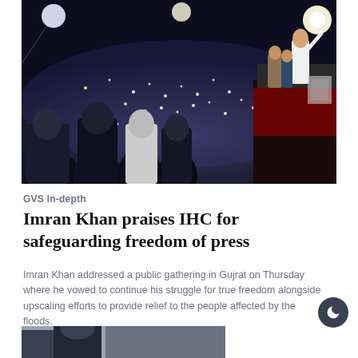[Figure (photo): Night rally scene: a massive crowd stretching into the background, lit by phone lights and stadium lights. On the right, a figure in white stands on an elevated platform with arm raised. Foreground shows several people in dark jackets.]
GVS In-depth
Imran Khan praises IHC for safeguarding freedom of press
Imran Khan addressed a public gathering in Gujrat on Thursday where he vowed to continue his struggle for true freedom alongside upscaling efforts to provide relief to the people affected by the floods.
AFP – 2 September 2022
[Figure (photo): Partial bottom photo showing a person in a dark jacket, cropped at the page edge.]